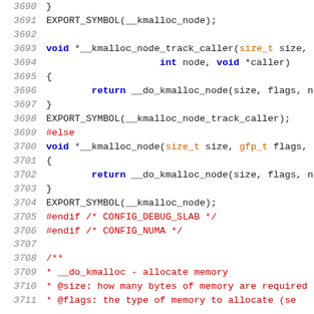Source code listing lines 3690-3711, C kernel code showing kmalloc_node functions and documentation comment start